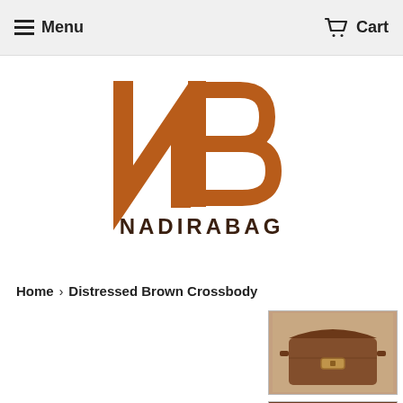Menu   Cart
[Figure (logo): NB NADIRABAG logo in burnt orange/brown color with large stylized N and B letters above the text NADIRABAG]
Home › Distressed Brown Crossbody
[Figure (photo): Thumbnail of a distressed brown leather crossbody bag viewed from the front/top, dark brown color, with flap and buckle closure]
[Figure (photo): Thumbnail of a distressed brown leather crossbody bag viewed from the front, darker angle showing clasp detail]